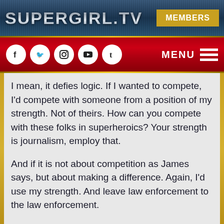SUPERGIRL.TV    MEMBERS
I mean, it defies logic. If I wanted to compete, I'd compete with someone from a position of my strength. Not of theirs. How can you compete with these folks in superheroics? Your strength is journalism, employ that.
And if it is not about competition as James says, but about making a difference. Again, I'd use my strength. And leave law enforcement to the law enforcement.
How's James with all his tech and Winn's support a hero and not Maggie who does whatever she does without any of that? Or Alex who only, as far as I have seen, has weapons, no additional armour or shield?